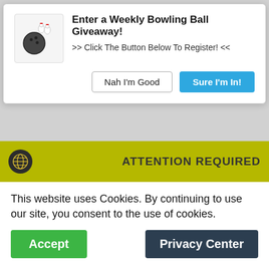[Figure (screenshot): Popup dialog for a weekly bowling ball giveaway with bowling ball and pins icon, title text, subtitle, and two buttons: 'Nah I'm Good' and 'Sure I'm In!']
★★★★★ (363)
★★★★★ (42)
[Figure (photo): Left product image: stacked metallic discs forming a dumbbell-like shape]
[Figure (photo): Right product image: stacked metallic discs forming a dumbbell-like shape]
[Figure (screenshot): Cookie consent banner with globe icon, 'ATTENTION REQUIRED' text, cookie message, Accept button, and Privacy Center button]